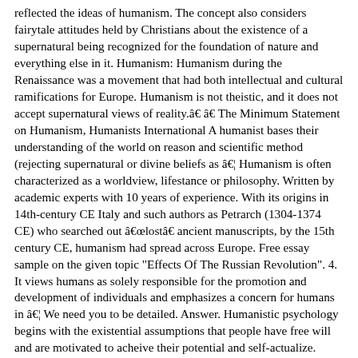reflected the ideas of humanism. The concept also considers fairytale attitudes held by Christians about the existence of a supernatural being recognized for the foundation of nature and everything else in it. Humanism: Humanism during the Renaissance was a movement that had both intellectual and cultural ramifications for Europe. Humanism is not theistic, and it does not accept supernatural views of reality.â â The Minimum Statement on Humanism, Humanists International A humanist bases their understanding of the world on reason and scientific method (rejecting supernatural or divine beliefs as â¦ Humanism is often characterized as a worldview, lifestance or philosophy. Written by academic experts with 10 years of experience. With its origins in 14th-century CE Italy and such authors as Petrarch (1304-1374 CE) who searched out âlostâ ancient manuscripts, by the 15th century CE, humanism had spread across Europe. Free essay sample on the given topic "Effects Of The Russian Revolution". 4. It views humans as solely responsible for the promotion and development of individuals and emphasizes a concern for humans in â¦ We need you to be detailed. Answer. Humanistic psychology begins with the existential assumptions that people have free will and are motivated to acheive their potential and self-actualize. Written by academic experts with 10 years of experience. 5. Free essay sample on the given topic "Magical Realism In Literature". Code Of Hammurabi Laws Compared To Today's Laws. Renaissance artists painted realistic